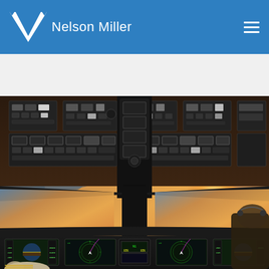Nelson Miller
[Figure (photo): Cockpit interior of a commercial airliner photographed from behind the pilots, showing overhead control panels, instrument panels, windshield with sunset sky and clouds visible, and a pilot in the right seat. The cockpit is filled with various gauges, digital displays, and avionics equipment illuminated in colorful lights.]